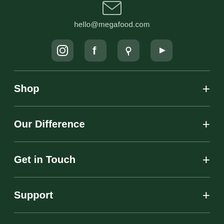hello@megafood.com
[Figure (infographic): Social media icons: Instagram, Facebook, Pinterest, YouTube in rounded square boxes]
Shop +
Our Difference +
Get in Touch +
Support +
Learn +